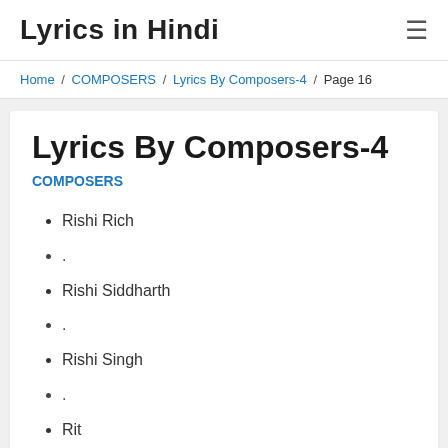Lyrics in Hindi
Home / COMPOSERS / Lyrics By Composers-4 / Page 16
Lyrics By Composers-4
COMPOSERS
Rishi Rich
.
Rishi Siddharth
.
Rishi Singh
.
Rit
.